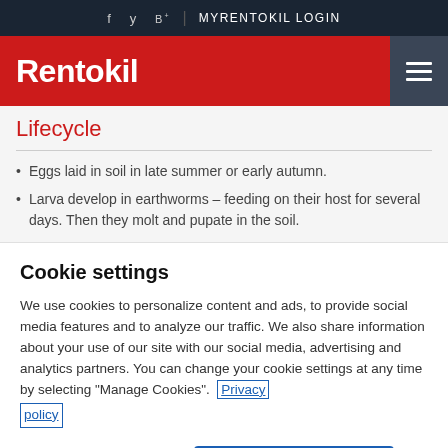f  y  B  |  MYRENTOKIL LOGIN
[Figure (logo): Rentokil logo in white text on red background with hamburger menu icon on right]
Lifecycle
Eggs laid in soil in late summer or early autumn.
Larva develop in earthworms – feeding on their host for several days. Then they molt and pupate in the soil.
Cookie settings
We use cookies to personalize content and ads, to provide social media features and to analyze our traffic. We also share information about your use of our site with our social media, advertising and analytics partners. You can change your cookie settings at any time by selecting "Manage Cookies".  Privacy policy
Cookies Settings   Accept All Cookies